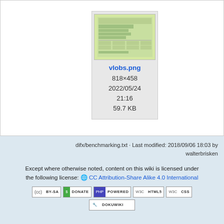[Figure (screenshot): File thumbnail showing vlobs.png, a screenshot of a terminal/spreadsheet with green background]
vlobs.png
818×458
2022/05/24
21:16
59.7 KB
difx/benchmarking.txt · Last modified: 2018/09/06 18:03 by walterbrisken
Except where otherwise noted, content on this wiki is licensed under the following license: CC Attribution-Share Alike 4.0 International
[Figure (logo): CC BY-SA badge]
[Figure (logo): Donate badge]
[Figure (logo): PHP Powered badge]
[Figure (logo): WSC HTML5 badge]
[Figure (logo): WSC CSS badge]
[Figure (logo): DokuWiki badge]